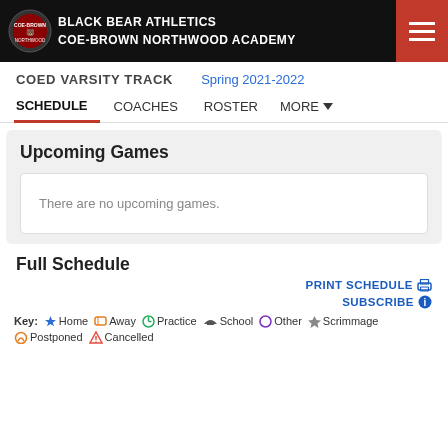BLACK BEAR ATHLETICS COE-BROWN NORTHWOOD ACADEMY
COED VARSITY TRACK  Spring 2021-2022
SCHEDULE  COACHES  ROSTER  MORE
Upcoming Games
There are no upcoming games.
Full Schedule
PRINT SCHEDULE
SUBSCRIBE
Key: Home Away Practice School Other Scrimmage Postponed Cancelled